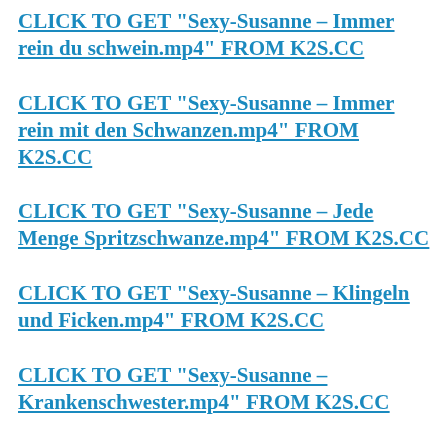CLICK TO GET "Sexy-Susanne – Immer rein du schwein.mp4" FROM K2S.CC
CLICK TO GET "Sexy-Susanne – Immer rein mit den Schwanzen.mp4" FROM K2S.CC
CLICK TO GET "Sexy-Susanne – Jede Menge Spritzschwanze.mp4" FROM K2S.CC
CLICK TO GET "Sexy-Susanne – Klingeln und Ficken.mp4" FROM K2S.CC
CLICK TO GET "Sexy-Susanne – Krankenschwester.mp4" FROM K2S.CC
CLICK TO GET "Sexy-Susanne – Lochstopfung